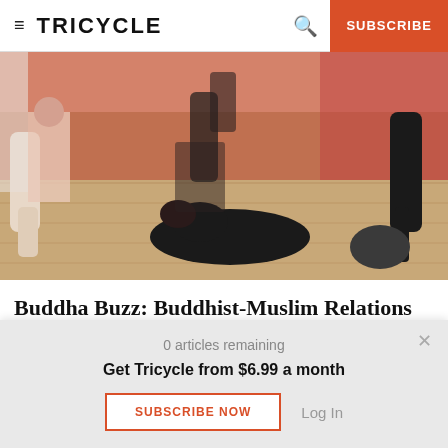≡ TRICYCLE  🔍  SUBSCRIBE
[Figure (photo): People in a room with a wooden floor, one person lying on the ground in black clothing, others standing around in various poses, pinkish/orange background.]
Buddha Buzz: Buddhist-Muslim Relations
0 articles remaining
Get Tricycle from $6.99 a month
SUBSCRIBE NOW   Log In